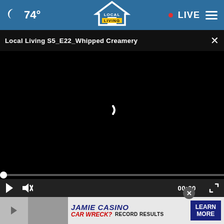74° LOCAL LIVING • LIVE
Local Living S5_E22_Whipped Creamery ×
[Figure (screenshot): Black video player area with a small white loading spinner in the center]
[Figure (screenshot): Video player controls: progress bar with dot at start, play button, mute button, time 00:00, fullscreen button]
[Figure (infographic): Advertisement banner: JAMIE CASINO / CAR WRECK? RECORD RESULTS / LEARN MORE button. Close (×) button overlaying the ad.]